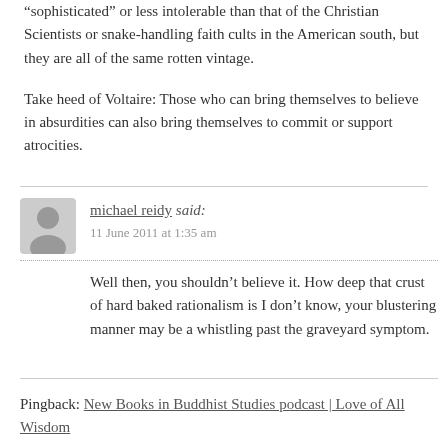“sophisticated” or less intolerable than that of the Christian Scientists or snake-handling faith cults in the American south, but they are all of the same rotten vintage.
Take heed of Voltaire: Those who can bring themselves to believe in absurdities can also bring themselves to commit or support atrocities.
michael reidy said: 11 June 2011 at 1:35 am
Well then, you shouldn’t believe it. How deep that crust of hard baked rationalism is I don’t know, your blustering manner may be a whistling past the graveyard symptom.
Pingback: New Books in Buddhist Studies podcast | Love of All Wisdom